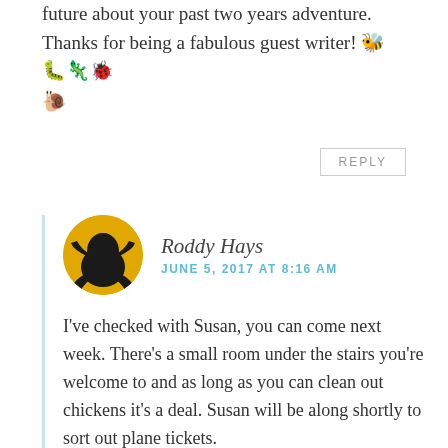future about your past two years adventure. Thanks for being a fabulous guest writer! 🐝🐛🦎🐞🐌
REPLY
Roddy Hays
JUNE 5, 2017 AT 8:16 AM
I've checked with Susan, you can come next week. There's a small room under the stairs you're welcome to and as long as you can clean out chickens it's a deal. Susan will be along shortly to sort out plane tickets.
I like the way you think, too, Stephanie, but the truth is that new insects get somewhat swept aside now. Sigh. 🙂 I might have bored them all a little too much.